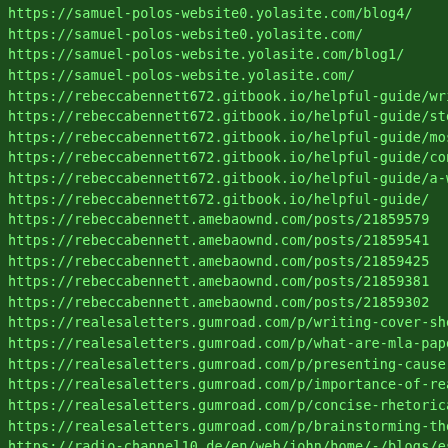https://samuel-polos-website0.yolasite.com/blog4/
https://samuel-polos-website0.yolasite.com/
https://samuel-polos-website.yolasite.com/blog1/
https://samuel-polos-website.yolasite.com/
https://rebeccabennett672.gitbook.io/helpful-guide/writing-
https://rebeccabennett672.gitbook.io/helpful-guide/step-by-
https://rebeccabennett672.gitbook.io/helpful-guide/most-ide
https://rebeccabennett672.gitbook.io/helpful-guide/conceptu
https://rebeccabennett672.gitbook.io/helpful-guide/a-word-o
https://rebeccabennett672.gitbook.io/helpful-guide/
https://rebeccabennett.amebaownd.com/posts/21859579
https://rebeccabennett.amebaownd.com/posts/21859541
https://rebeccabennett.amebaownd.com/posts/21859425
https://rebeccabennett.amebaownd.com/posts/21859381
https://rebeccabennett.amebaownd.com/posts/21859302
https://realesaletters.gumroad.com/p/writing-cover-sheet-of
https://realesaletters.gumroad.com/p/what-are-mla-papers-20
https://realesaletters.gumroad.com/p/presenting-cause-and-e
https://realesaletters.gumroad.com/p/importance-of-reading-
https://realesaletters.gumroad.com/p/concise-rhetorical-ana
https://realesaletters.gumroad.com/p/brainstorming-the-comp
https://radio-channel10.de/en/web/john/home/-/blogs/essay-t
https://radio-channel10.de/en/web/john/home/-/blogs/college
https://radio-channel10.de/en/web/john/home/-/blogs/asa-sty
https://radio-channel10.de/en/web/john/home/-/blogs/7-ways-
https://radio-channel10.de/en/web/john/home/-/blogs/5-commo
https://postheaven.net/zriamt7of5
https://postheaven.net/zoxqpkwvxc
https://postheaven.net/orzioh74ts
https://postheaven.net/lsa33dvzwc